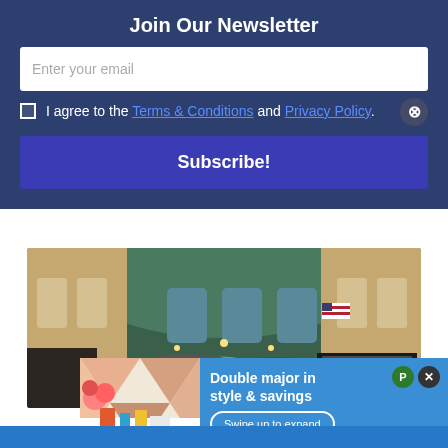Join Our Newsletter
Enter your email
I agree to the Terms & Conditions and Privacy Policy.
Subscribe!
[Figure (photo): Interior of Grand Central Terminal, New York, showing large arched windows, vaulted ceiling, American flag, and crowd of people on the main concourse floor.]
[Figure (infographic): Advertisement overlay showing a room interior thumbnail on left and text 'Double major in style & savings' with 'Swipe up to expand' button on blue background.]